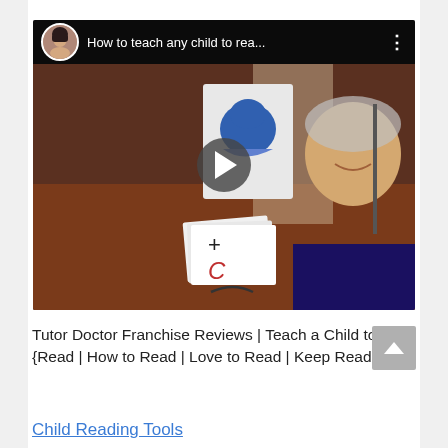[Figure (screenshot): Embedded video thumbnail showing a child learning to read with flashcards. Video overlay bar at top with avatar, title 'How to teach any child to rea...' and three-dot menu. Play button centered on dark scene.]
Tutor Doctor Franchise Reviews | Teach a Child to {Read | How to Read | Love to Read | Keep Reading}
Child Reading Tools